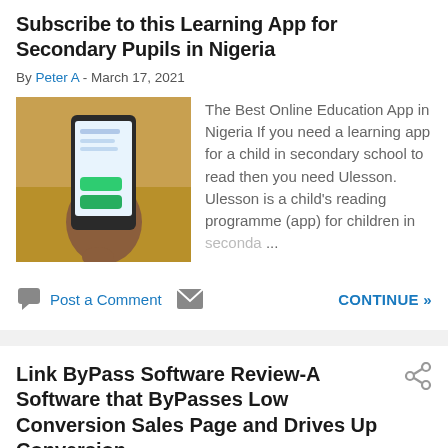Subscribe to this Learning App for Secondary Pupils in Nigeria
By Peter A - March 17, 2021
[Figure (photo): Hand holding a smartphone displaying an app interface, on a yellow/wooden background]
The Best Online Education App in Nigeria If you need a learning app for a child in secondary school to read then you need Ulesson. Ulesson is a child's reading programme (app) for children in seconda ...
Post a Comment   CONTINUE »
Link ByPass Software Review-A Software that ByPasses Low Conversion Sales Page and Drives Up Conversion